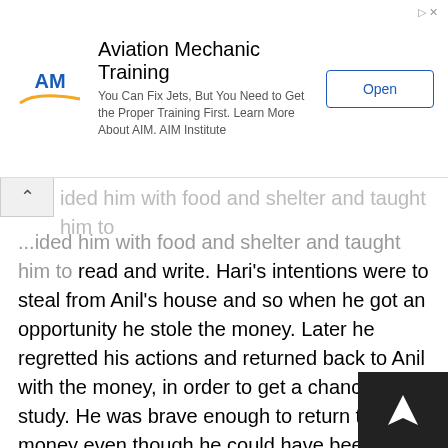[Figure (other): Advertisement banner for Aviation Mechanic Training by AIM Institute with logo, description text, and Open button]
...ever he wanted in his life. Anil took care of him, provided him with food and shelter and taught him to read and write. Hari's intentions were to steal from Anil's house and so when he got an opportunity he stole the money. Later he regretted his actions and returned back to Anil with the money, in order to get a chance to study. He was brave enough to return the money even though he could have been caught. His desire to get educated and change himself was so strong that it motivated him to reform himself.
8. Frame 'Wh' questions to get the answers underlined below. (Change the first person pronouns to the second person where necessary.)
(a) I hurried back to the room.